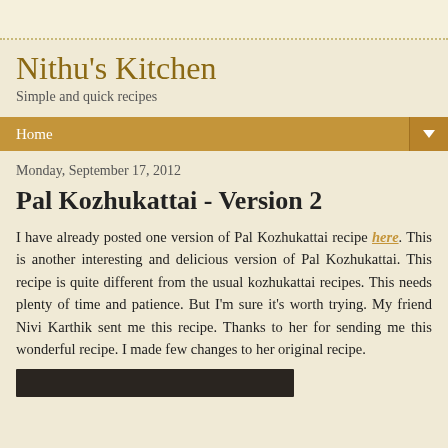Nithu's Kitchen
Simple and quick recipes
Home
Monday, September 17, 2012
Pal Kozhukattai - Version 2
I have already posted one version of Pal Kozhukattai recipe here. This is another interesting and delicious version of Pal Kozhukattai. This recipe is quite different from the usual kozhukattai recipes. This needs plenty of time and patience. But I'm sure it's worth trying. My friend Nivi Karthik sent me this recipe. Thanks to her for sending me this wonderful recipe. I made few changes to her original recipe.
[Figure (photo): Dark strip at bottom, likely bottom edge of a food photograph]